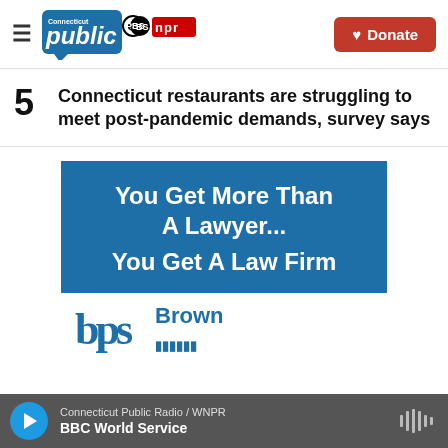Connecticut Public | PBS | NPR — Donate
5  Connecticut restaurants are struggling to meet post-pandemic demands, survey says
[Figure (illustration): Advertisement for Brown law firm: 'You Get More Than A Lawyer... You Get A Law Firm' with BPS logo and 'Brown' text]
Connecticut Public Radio / WNPR — BBC World Service